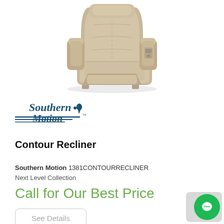[Figure (photo): Taupe/beige leather recliner chair shown in upright position, viewed from a slight angle. Plush padded seat, arms, and back with visible stitching details.]
[Figure (logo): Southern Motion brand logo in dark teal — stylized cursive text with horizontal speed lines beneath.]
Contour Recliner
Southern Motion 1381CONTOURRECLINER
Next Level Collection
Call for Our Best Price
See Details